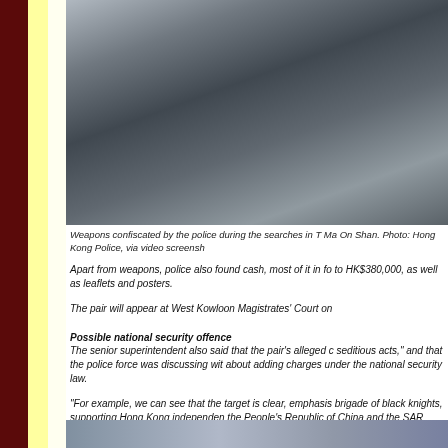[Figure (photo): Weapons confiscated by police displayed on a surface, including what appear to be batons or clubs in a clear container, photographed from above.]
Weapons confiscated by the police during the searches in T Ma On Shan. Photo: Hong Kong Police, via video screensh
Apart from weapons, police also found cash, most of it in fo to HK$380,000, as well as leaflets and posters.
The pair will appear at West Kowloon Magistrates' Court on
Possible national security offence
The senior superintendent also said that the pair's alleged c seditious acts," and that the police force was discussing wit about adding charges under the national security law.
“For example, we can see that the target is clear, emphasis brigade of black knights, supporting Hong Kong independen the People’s Republic of China and the SAR government," s
[Figure (photo): Partial view of another photo at the bottom of the page.]